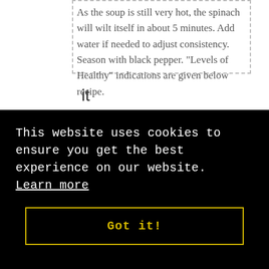As the soup is still very hot, the spinach will wilt itself in about 5 minutes. Add water if needed to adjust consistency. Season with black pepper. "Levels of Healthy" indications are given below recipe.
Levels of Healthy
Here are ways that you can edit/add to the recipe to suit your tastebuds and style of eating. The full-on healthy, Nutritarian recipe
This website uses cookies to ensure you get the best experience on our website. Learn more